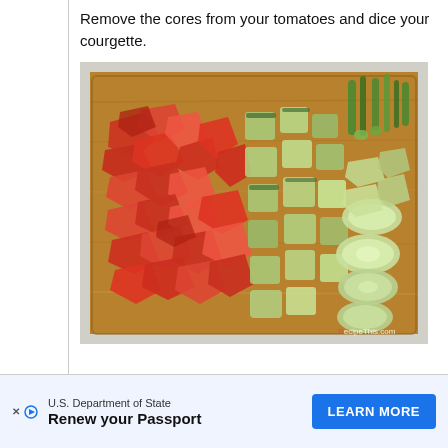Remove the cores from your tomatoes and dice your courgette.
[Figure (photo): A wooden cutting board with chopped red tomatoes on the left side, diced courgette/zucchini in the middle, and sliced cucumber with green spring onions on the right side. Watermark reads RecipeThis.com.]
[Figure (screenshot): Advertisement banner for U.S. Department of State: 'Renew your Passport' with a blue 'LEARN MORE' button.]